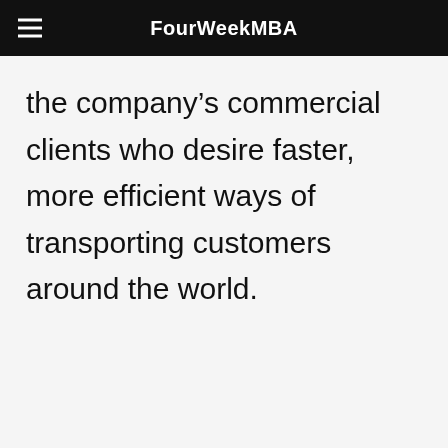FourWeekMBA
the company’s commercial clients who desire faster, more efficient ways of transporting customers around the world.